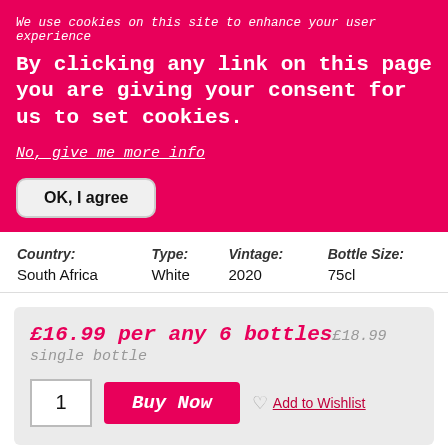We use cookies on this site to enhance your user experience
By clicking any link on this page you are giving your consent for us to set cookies.
No, give me more info
OK, I agree
| Country: | Type: | Vintage: | Bottle Size: |
| --- | --- | --- | --- |
| South Africa | White | 2020 | 75cl |
£16.99 per any 6 bottles £18.99 single bottle
1
Buy Now
Add to Wishlist